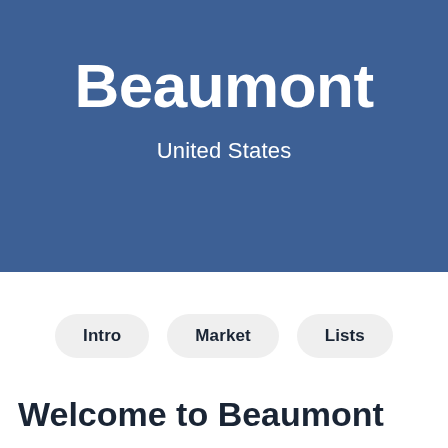Beaumont
United States
Intro
Market
Lists
Welcome to Beaumont